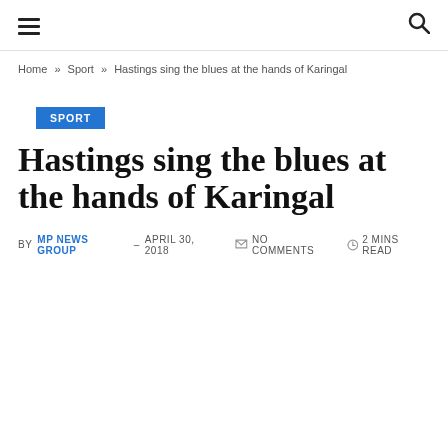Navigation header with hamburger menu and search icon
Home » Sport » Hastings sing the blues at the hands of Karingal
SPORT
Hastings sing the blues at the hands of Karingal
BY MP NEWS GROUP – APRIL 30, 2018  NO COMMENTS  2 MINS READ